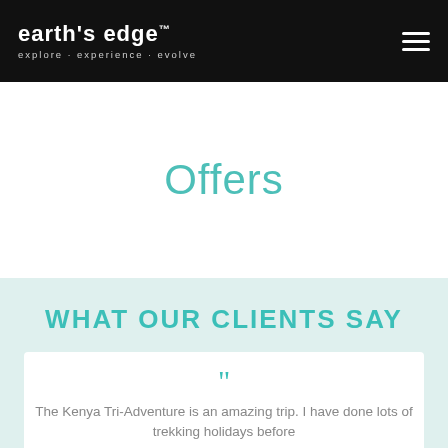earth's edge™ explore · experience · evolve
Offers
WHAT OUR CLIENTS SAY
"The Kenya Tri-Adventure is an amazing trip. I have done lots of trekking holidays before